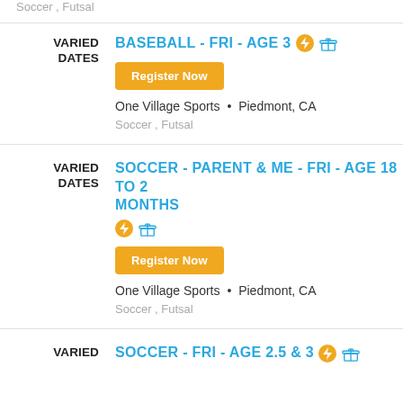Soccer , Futsal
VARIED DATES
BASEBALL - FRI - AGE 3
Register Now
One Village Sports • Piedmont, CA
Soccer , Futsal
VARIED DATES
SOCCER - PARENT & ME - FRI - AGE 18 TO 2 MONTHS
Register Now
One Village Sports • Piedmont, CA
Soccer , Futsal
VARIED DATES
SOCCER - FRI - AGE 2.5 & 3